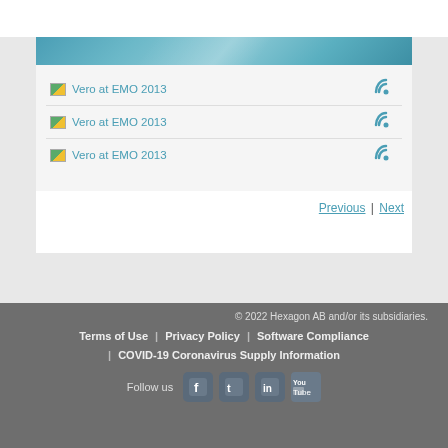[Figure (screenshot): Blue/teal geometric pattern header banner]
Vero at EMO 2013
Vero at EMO 2013
Vero at EMO 2013
Previous | Next
© 2022 Hexagon AB and/or its subsidiaries. Terms of Use | Privacy Policy | Software Compliance | COVID-19 Coronavirus Supply Information Follow us [social icons]